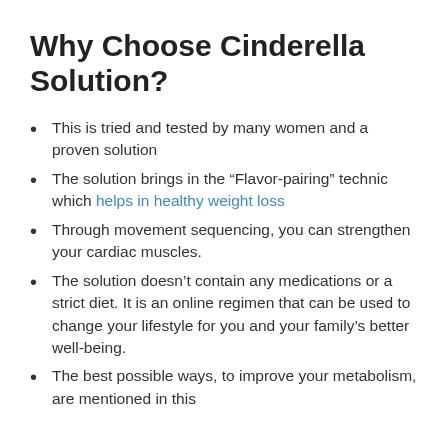Why Choose Cinderella Solution?
This is tried and tested by many women and a proven solution
The solution brings in the “Flavor-pairing” technic which helps in healthy weight loss
Through movement sequencing, you can strengthen your cardiac muscles.
The solution doesn’t contain any medications or a strict diet. It is an online regimen that can be used to change your lifestyle for you and your family’s better well-being.
The best possible ways, to improve your metabolism, are mentioned in this